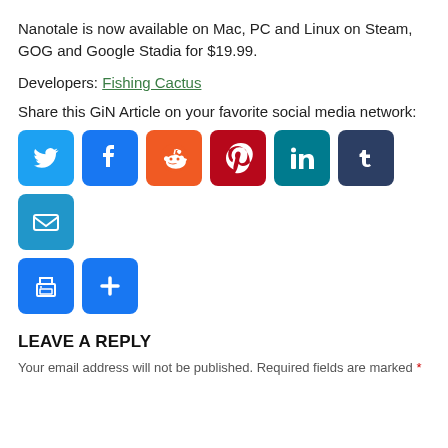Nanotale is now available on Mac, PC and Linux on Steam, GOG and Google Stadia for $19.99.
Developers: Fishing Cactus
Share this GiN Article on your favorite social media network:
[Figure (infographic): Row of social media share buttons: Twitter, Facebook, Reddit, Pinterest, LinkedIn, Tumblr, Email, Print, More]
LEAVE A REPLY
Your email address will not be published. Required fields are marked *